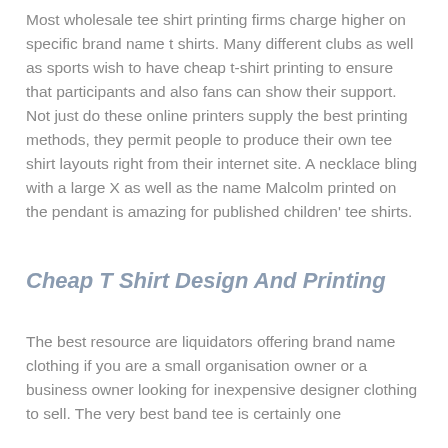Most wholesale tee shirt printing firms charge higher on specific brand name t shirts. Many different clubs as well as sports wish to have cheap t-shirt printing to ensure that participants and also fans can show their support. Not just do these online printers supply the best printing methods, they permit people to produce their own tee shirt layouts right from their internet site. A necklace bling with a large X as well as the name Malcolm printed on the pendant is amazing for published children' tee shirts.
Cheap T Shirt Design And Printing
The best resource are liquidators offering brand name clothing if you are a small organisation owner or a business owner looking for inexpensive designer clothing to sell. The very best band tee is certainly one